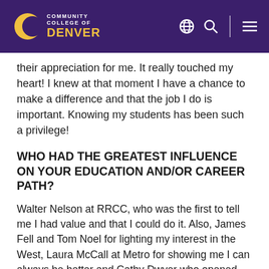Community College of Denver
their appreciation for me. It really touched my heart! I knew at that moment I have a chance to make a difference and that the job I do is important. Knowing my students has been such a privilege!
WHO HAD THE GREATEST INFLUENCE ON YOUR EDUCATION AND/OR CAREER PATH?
Walter Nelson at RRCC, who was the first to tell me I had value and that I could do it. Also, James Fell and Tom Noel for lighting my interest in the West, Laura McCall at Metro for showing me I can always be better and Cathy Dwyer who opened the door to my love for geography. Michael Mackey gave me confidence and William Ashcraft always has my